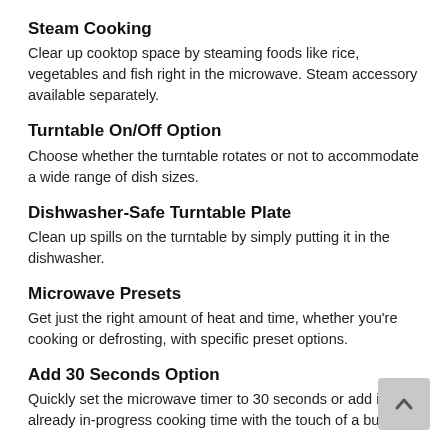Steam Cooking
Clear up cooktop space by steaming foods like rice, vegetables and fish right in the microwave. Steam accessory available separately.
Turntable On/Off Option
Choose whether the turntable rotates or not to accommodate a wide range of dish sizes.
Dishwasher-Safe Turntable Plate
Clean up spills on the turntable by simply putting it in the dishwasher.
Microwave Presets
Get just the right amount of heat and time, whether you're cooking or defrosting, with specific preset options.
Add 30 Seconds Option
Quickly set the microwave timer to 30 seconds or add it to already in-progress cooking time with the touch of a button.
1,000-Watt Cooking Power